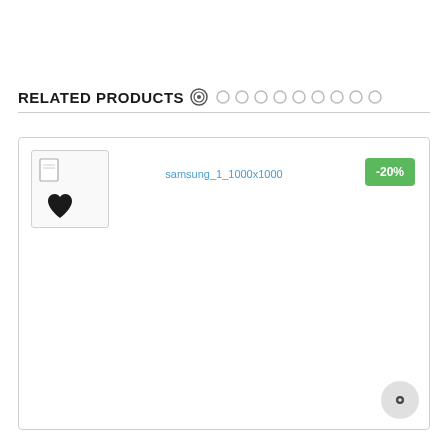RELATED PRODUCTS
[Figure (screenshot): E-commerce product card showing a Samsung product image placeholder with a heart/wishlist icon, product name 'samsung_1_1000x1000' in blue link text, and a green -20% discount badge. Below is a carousel navigation row with circle dots. A chat button appears in the bottom right corner.]